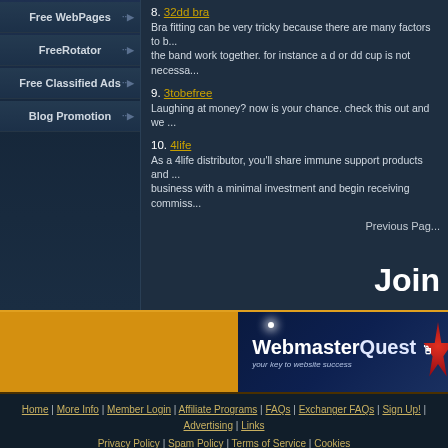Free WebPages
FreeRotator
Free Classified Ads
Blog Promotion
8. 32dd bra
Bra fitting can be very tricky because there are many factors to b... the band work together. for instance a d or dd cup is not necessa...
9. 3tobefree
Laughing at money? now is your chance. check this out and we ...
10. 4life
As a 4life distributor, you'll share immune support products and ... business with a minimal investment and begin receiving commiss...
Previous Pag...
Join
[Figure (logo): WebmasterQuest logo - your key to website success, on dark blue background with star]
Home | More Info | Member Login | Affiliate Programs | FAQs | Exchanger FAQs | Sign Up! | Advertising | Links
Privacy Policy | Spam Policy | Terms of Service | Cookies
© 2001 - 2022 TrafficG.com. All Rights Reserved.